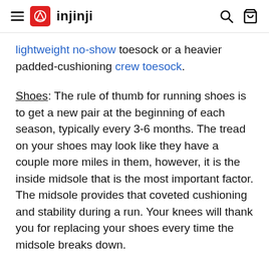injinji
lightweight no-show toesock or a heavier padded-cushioning crew toesock.
Shoes: The rule of thumb for running shoes is to get a new pair at the beginning of each season, typically every 3-6 months. The tread on your shoes may look like they have a couple more miles in them, however, it is the inside midsole that is the most important factor. The midsole provides that coveted cushioning and stability during a run. Your knees will thank you for replacing your shoes every time the midsole breaks down.
Once your fall running wardrobe is all set – suit up